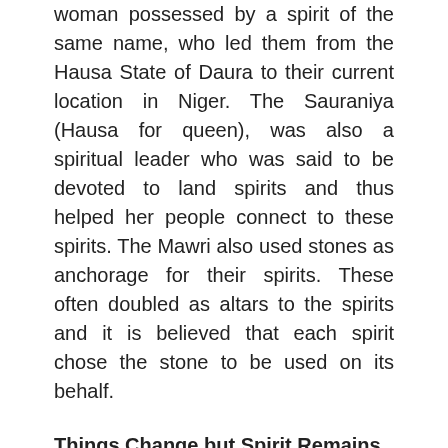woman possessed by a spirit of the same name, who led them from the Hausa State of Daura to their current location in Niger. The Sauraniya (Hausa for queen), was also a spiritual leader who was said to be devoted to land spirits and thus helped her people connect to these spirits. The Mawri also used stones as anchorage for their spirits. These often doubled as altars to the spirits and it is believed that each spirit chose the stone to be used on its behalf.
Things Change but Spirit Remains the Same
Even though Hausa Animism experienced a tidal wave of change with both the arrival of Islam and colonization, like many resilient cultures across the African continent, adherents found ways to incorporate these changes into their belief systems. It has been argued that for both the Mawri and